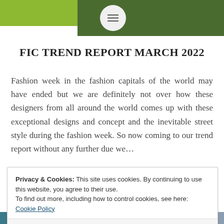[Figure (photo): Header image strip showing green and dark green textured background with a circular logo/menu button in the center containing hamburger menu lines]
FIC TREND REPORT MARCH 2022
Fashion week in the fashion capitals of the world may have ended but we are definitely not over how these designers from all around the world comes up with these exceptional designs and concept and the inevitable street style during the fashion week. So now coming to our trend report without any further due we…
Privacy & Cookies: This site uses cookies. By continuing to use this website, you agree to their use.
To find out more, including how to control cookies, see here: Cookie Policy
Close and accept
[Figure (photo): Bottom strip showing partial fashion images in teal/blue tones]